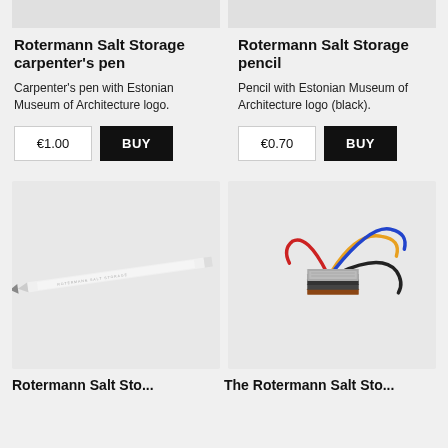Rotermann Salt Storage carpenter's pen
Carpenter's pen with Estonian Museum of Architecture logo.
€1.00  BUY
Rotermann Salt Storage pencil
Pencil with Estonian Museum of Architecture logo (black).
€0.70  BUY
[Figure (photo): White pencil with Rotermann Salt Storage text on light gray background]
[Figure (photo): Stack of layered bookmarks/cards with colored cords (orange, blue, red, black) on light gray background]
Rotermann Salt Sto...
The Rotermann Salt Sto...